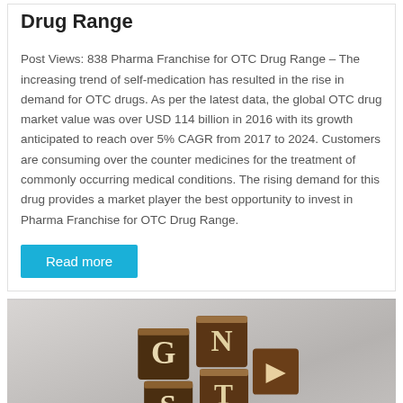Drug Range
Post Views: 838 Pharma Franchise for OTC Drug Range – The increasing trend of self-medication has resulted in the rise in demand for OTC drugs. As per the latest data, the global OTC drug market value was over USD 114 billion in 2016 with its growth anticipated to reach over 5% CAGR from 2017 to 2024. Customers are consuming over the counter medicines for the treatment of commonly occurring medical conditions. The rising demand for this drug provides a market player the best opportunity to invest in Pharma Franchise for OTC Drug Range.
Read more
[Figure (photo): Wooden letter blocks spelling GST on a blurred background with colorful objects]
Incentives (2021-22)
Price List